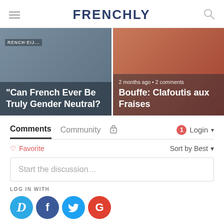FRENCHLY
[Figure (screenshot): Article card: 'Can French Ever Be Truly Gender Neutral?' with dark overlay on book/paper background]
[Figure (screenshot): Article card: 'Bouffe: Clafoutis aux Fraises' with meta '2 months ago • 2 comments' on food/strawberry background]
Comments  Community  🔒  1  Login
♡ Favorite   Sort by Best ▾
Start the discussion…
LOG IN WITH
OR SIGN UP WITH DISQUS  ?